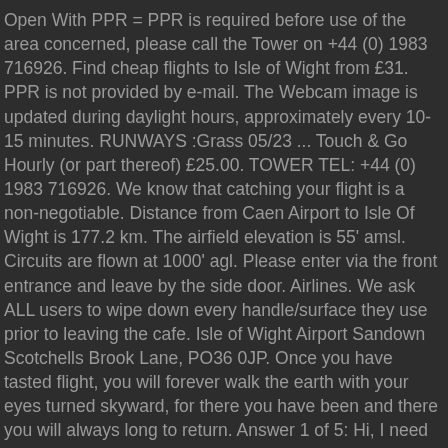Open With PPR = PPR is required before use of the area concerned, please call the Tower on +44 (0) 1983 716926. Find cheap flights to Isle of Wight from £31. PPR is not provided by e-mail. The Webcam image is updated during daylight hours, approximately every 10-15 minutes. RUNWAYS :Grass 05/23 ... Touch & Go Hourly (or part thereof) £25.00. TOWER TEL: +44 (0) 1983 716926. We know that catching your flight is a non-negotiable. Distance from Caen Airport to Isle Of Wight is 177.2 km. The airfield elevation is 55' amsl. Circuits are flown at 1000' agl. Please enter via the front entrance and leave by the side door. Airlines. We ask ALL users to wipe down every handle/surface they use prior to leaving the cafe. Isle of Wight Airport Sandown Scotchells Brook Lane, PO36 0JP. Once you have tasted flight, you will forever walk the earth with your eyes turned skyward, for there you have been and there you will always long to return. Answer 1 of 5: Hi, I need to travel from Belfast/Dublin to Isle of Wight (Newport) tomorrow evening and am trying to figure out